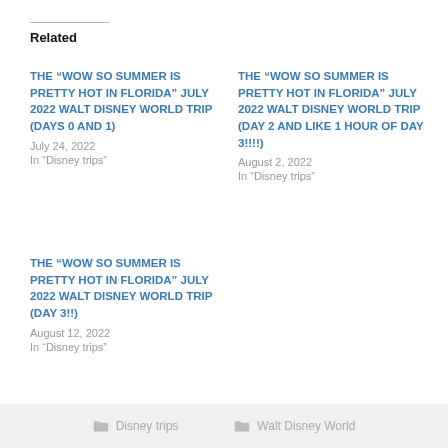Related
THE “WOW SO SUMMER IS PRETTY HOT IN FLORIDA” JULY 2022 WALT DISNEY WORLD TRIP (DAYS 0 AND 1)
July 24, 2022
In “Disney trips”
THE “WOW SO SUMMER IS PRETTY HOT IN FLORIDA” JULY 2022 WALT DISNEY WORLD TRIP (DAY 2 AND LIKE 1 HOUR OF DAY 3!!!!)
August 2, 2022
In “Disney trips”
THE “WOW SO SUMMER IS PRETTY HOT IN FLORIDA” JULY 2022 WALT DISNEY WORLD TRIP (DAY 3!!)
August 12, 2022
In “Disney trips”
Disney trips   Walt Disney World